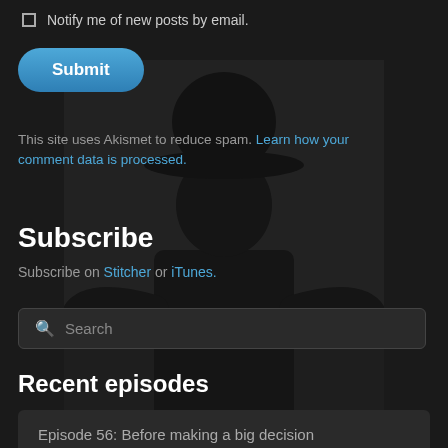Notify me of new posts by email.
Submit
This site uses Akismet to reduce spam. Learn how your comment data is processed.
[Figure (photo): Back view of a person wearing a dark suit and black bowler hat, set against a dark moody landscape background.]
Subscribe
Subscribe on Stitcher or iTunes.
Search
Recent episodes
Episode 56: Before making a big decision